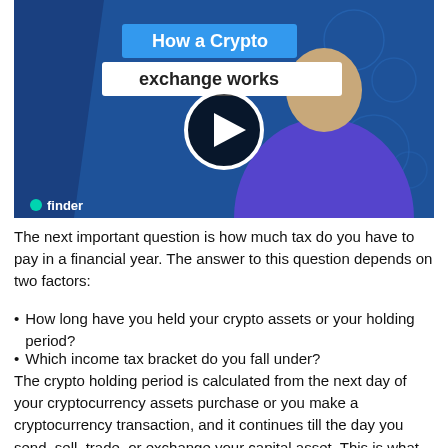[Figure (screenshot): Video thumbnail showing a man in a purple t-shirt with 'How a Crypto exchange works' title overlay and a play button in the center. Finder logo in bottom left.]
The next important question is how much tax do you have to pay in a financial year. The answer to this question depends on two factors:
How long have you held your crypto assets or your holding period?
Which income tax bracket do you fall under?
The crypto holding period is calculated from the next day of your cryptocurrency assets purchase or you make a cryptocurrency transaction, and it continues till the day you send, sell, trade, or exchange your capital asset. This is what